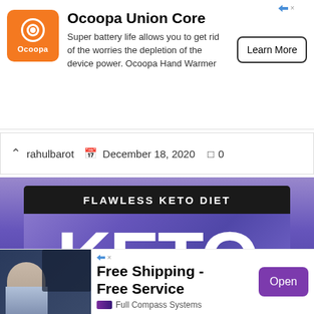[Figure (screenshot): Ocoopa Union Core advertisement banner with orange logo, product title, description about super battery life, and Learn More button]
rahulbarot   December 18, 2020   0
[Figure (photo): Flawless Keto Diet product container - purple/blue can with black band reading 'FLAWLESS KETO DIET' and large white 'KETO' text on the body]
[Figure (screenshot): Full Compass Systems advertisement with man at studio desk, Free Shipping - Free Service text, and Open button]